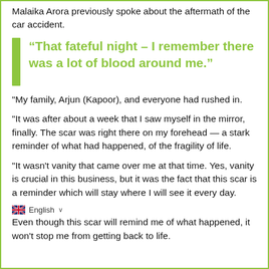Malaika Arora previously spoke about the aftermath of the car accident.
“That fateful night – I remember there was a lot of blood around me.”
"My family, Arjun (Kapoor), and everyone had rushed in.
"It was after about a week that I saw myself in the mirror, finally. The scar was right there on my forehead — a stark reminder of what had happened, of the fragility of life.
"It wasn't vanity that came over me at that time. Yes, vanity is crucial in this business, but it was the fact that this scar is a reminder which will stay where I will see it every day.
Even though this scar will remind me of what happened, it won't stop me from getting back to life.